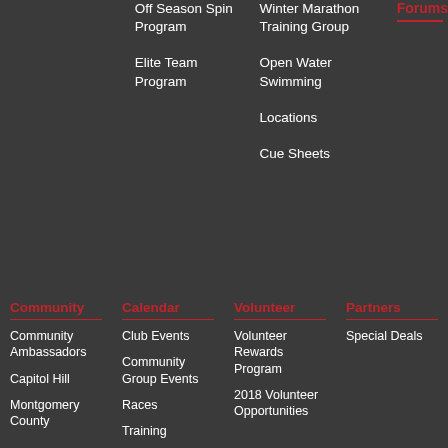Off Season Spin Program
Elite Team Program
Winter Marathon Training Group
Open Water Swimming
Locations
Cue Sheets
Forums
Community
Community Ambassadors
Capitol Hill
Montgomery County
Calendar
Club Events
Community Group Events
Races
Training
Volunteer
Volunteer Rewards Program
2018 Volunteer Opportunities
Partners
Special Deals